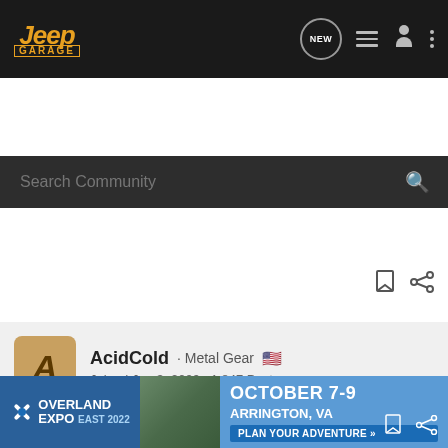Jeep Garage — Navigation bar with logo, NEW button, menu, user, and more icons
Search Community
[Figure (screenshot): Bookmark and share icons row]
[Figure (screenshot): User avatar card: AcidCold · Metal Gear 🇺🇸, Joined Jun 3, 2009 · 1,847 Posts]
#18 · Jul 8, 2009
The only time you would need to cut that bolt would be stuffing a 265, the height is perfectly fine.
I know a few guys running a 265/70/17 with minor rubbing at full lock, they did need to trim a 1/4" of that bolt but that is about it.
[Figure (infographic): Overland Expo East 2022 advertisement banner — October 7-9, Arrington, VA, Plan Your Adventure]